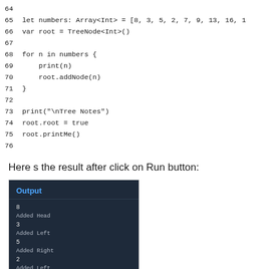64
65 let numbers: Array<Int> = [8, 3, 5, 2, 7, 9, 13, 16, 1
66 var root = TreeNode<Int>()
67
68 for n in numbers {
69     print(n)
70     root.addNode(n)
71 }
72
73 print("\nTree Notes")
74 root.root = true
75 root.printMe()
76
Here s the result after click on Run button:
[Figure (screenshot): Output panel screenshot showing a dark blue background with 'Output' title in blue, followed by lines: 8, Added Head, 3, Added Left, 5, Added Right, 2, Added Left]